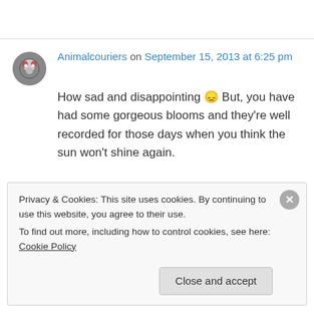Animalcouriers on September 15, 2013 at 6:25 pm
How sad and disappointing 😕 But, you have had some gorgeous blooms and they're well recorded for those days when you think the sun won't shine again.
↳ Reply
Privacy & Cookies: This site uses cookies. By continuing to use this website, you agree to their use. To find out more, including how to control cookies, see here: Cookie Policy
Close and accept